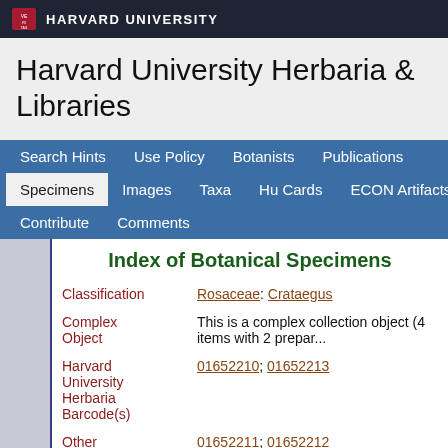HARVARD UNIVERSITY
Harvard University Herbaria & Libraries
Search Hints | Use Policy | Botanists | Publications | Specimens | Images | Taxa | Hu Cards | ECON Artifacts | Contribute | Comments
Index of Botanical Specimens
| Field | Value |
| --- | --- |
| Classification | Rosaceae: Crataegus |
| Complex Object | This is a complex collection object (4 items with 2 prepar... |
| Harvard University Herbaria Barcode(s) | 01652210; 01652213 |
| Other Barcodes on Sheet | 01652211; 01652212 |
| Collector | C. B. Graves |